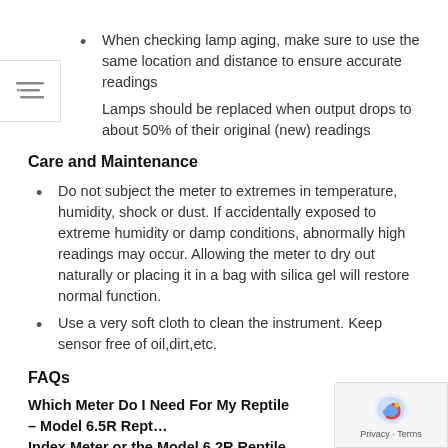When checking lamp aging, make sure to use the same location and distance to ensure accurate readings
Lamps should be replaced when output drops to about 50% of their original (new) readings
Care and Maintenance
Do not subject the meter to extremes in temperature, humidity, shock or dust. If accidentally exposed to extreme humidity or damp conditions, abnormally high readings may occur. Allowing the meter to dry out naturally or placing it in a bag with silica gel will restore normal function.
Use a very soft cloth to clean the instrument. Keep sensor free of oil,dirt,etc.
FAQs
Which Meter Do I Need For My Reptile – Model 6.5R Reptile Index Meter or the Model 6.2R Reptile UVB Lamp Meter?